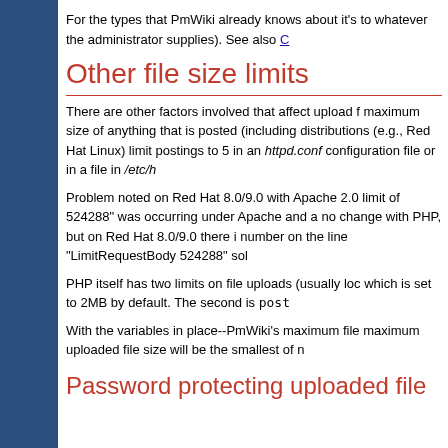For the types that PmWiki already knows about it's to whatever the administrator supplies). See also C
Other file size limits
There are other factors involved that affect upload f maximum size of anything that is posted (including distributions (e.g., Red Hat Linux) limit postings to 5 in an httpd.conf configuration file or in a file in /etc/h
Problem noted on Red Hat 8.0/9.0 with Apache 2.0 limit of 524288" was occurring under Apache and a no change with PHP, but on Red Hat 8.0/9.0 there i number on the line "LimitRequestBody 524288" sol
PHP itself has two limits on file uploads (usually loc which is set to 2MB by default. The second is post_
With the variables in place--PmWiki's maximum file maximum uploaded file size will be the smallest of n
Password protecting uploaded file